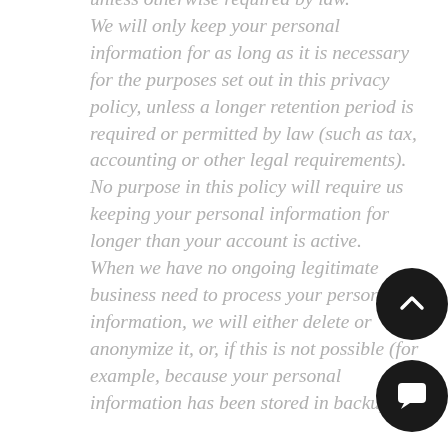unless otherwise required by law. We will only keep your personal information for as long as it is necessary for the purposes set out in this privacy policy, unless a longer retention period is required or permitted by law (such as tax, accounting or other legal requirements). No purpose in this policy will require us keeping your personal information for longer than your account is active. When we have no ongoing legitimate business need to process your personal information, we will either delete or anonymize it, or, if this is not possible (for example, because your personal information has been stored in backup